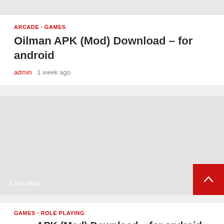ARCADE · GAMES
Oilman APK (Mod) Download – for android
admin  1 week ago
[Figure (other): Gray placeholder image block with '2 min read' label in white at bottom left and a red scroll-to-top button at bottom right]
GAMES · ROLE PLAYING
...APK (Mod) Download – for android